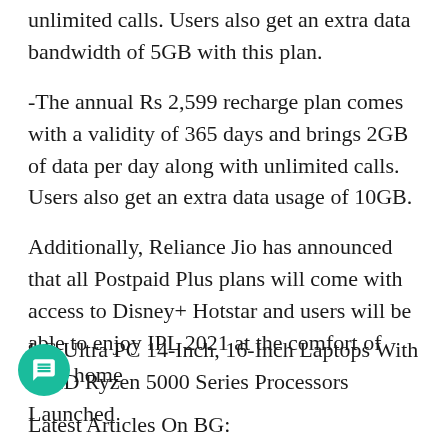unlimited calls. Users also get an extra data bandwidth of 5GB with this plan.
-The annual Rs 2,599 recharge plan comes with a validity of 365 days and brings 2GB of data per day along with unlimited calls. Users also get an extra data usage of 10GB.
Additionally, Reliance Jio has announced that all Postpaid Plus plans will come with access to Disney+ Hotstar and users will be able to enjoy IPL 2021 at the comfort of their home
Latest Articles On BG:
LG Ultra PC 14-Inch, 16-Inch Laptops With AMD Ryzen 5000 Series Processors Launched